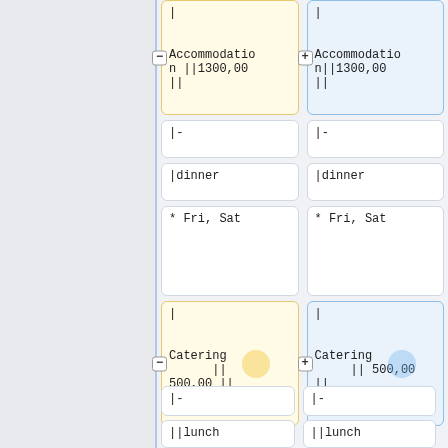|

Accommodation ||1300,00 ||
|

Accommodation||1300,00 ||
|-
|-
|dinner
|dinner
* Fri, Sat
* Fri, Sat
|

Catering || 500,00 ||
|

Catering || 500,00 ||
|-
|-
||lunch
||lunch